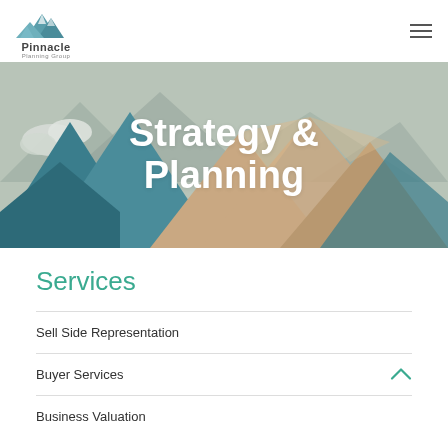Pinnacle Planning Group
[Figure (illustration): Mountain landscape hero banner with stylized mountains in teal, tan, and grey tones with clouds on the left side]
Strategy & Planning
Services
Sell Side Representation
Buyer Services
Business Valuation